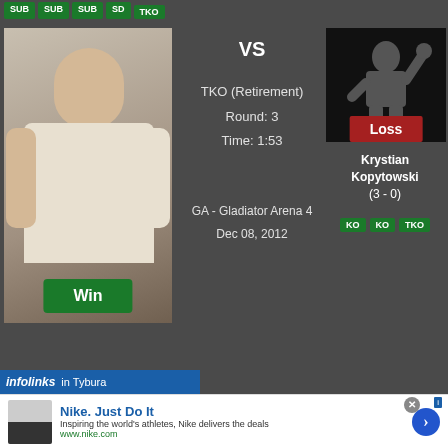[Figure (other): Fighter badges row: SUB SUB SUB SD TKO green labels]
[Figure (photo): Male fighter in white polo shirt, muscular build, smiling, with green Win badge overlay]
VS
TKO (Retirement)
Round: 3
Time: 1:53
GA - Gladiator Arena 4
Dec 08, 2012
[Figure (photo): Silhouette of fighter with arm raised, Loss badge overlay, dark background]
Krystian Kopytowski
(3 - 0)
[Figure (other): Fighter badges: KO KO TKO green labels]
infolinks   in Tybura
[Figure (other): Nike advertisement banner: Nike. Just Do It. Inspiring the world's athletes, Nike delivers the deals. www.nike.com]